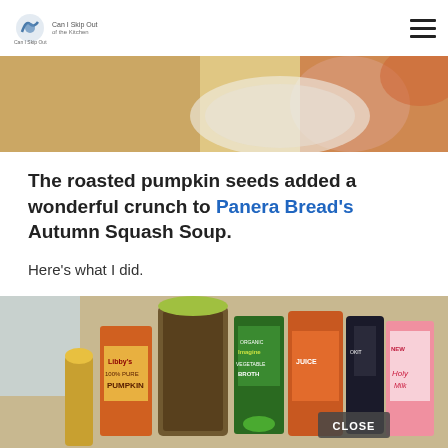Can I Skip Out of the Kitchen
[Figure (photo): Top portion of a food/soup photo, showing a bowl and colorful background with warm autumn tones]
The roasted pumpkin seeds added a wonderful crunch to Panera Bread's Autumn Squash Soup.
Here's what I did.
[Figure (photo): Kitchen counter with various ingredients including Libby's pumpkin, Imagine Organic Vegetable Broth, apple juice, and other items for the Autumn Squash Soup recipe. A CLOSE button appears in the lower right of the image.]